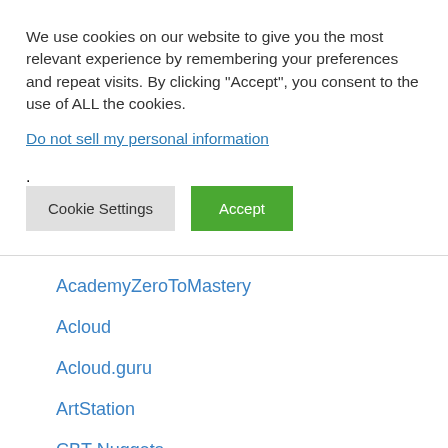We use cookies on our website to give you the most relevant experience by remembering your preferences and repeat visits. By clicking “Accept”, you consent to the use of ALL the cookies.
Do not sell my personal information.
Cookie Settings | Accept
AcademyZeroToMastery
Acloud
Acloud.guru
ArtStation
CBT Nuggets
Classerium
CloudAcademy